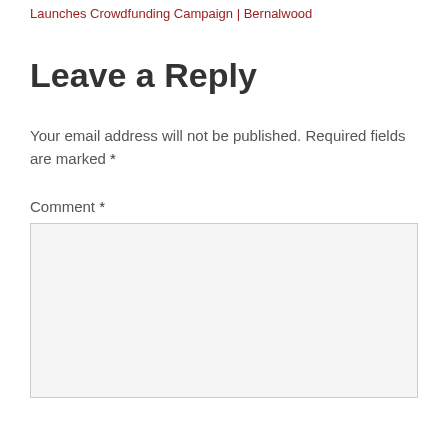Launches Crowdfunding Campaign | Bernalwood
Leave a Reply
Your email address will not be published. Required fields are marked *
Comment *